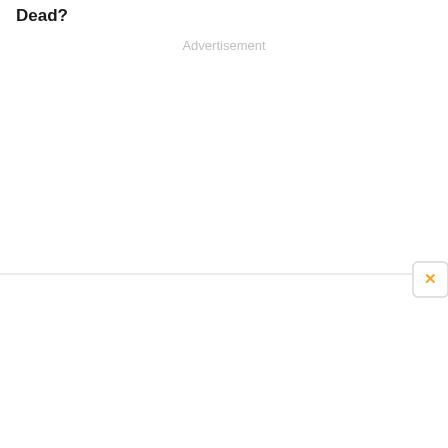Dead?
Advertisement
[Figure (other): Advertisement placeholder area with a close (X) button in orange/gold color at the bottom right, and a light gray horizontal border line at the bottom of the ad area.]